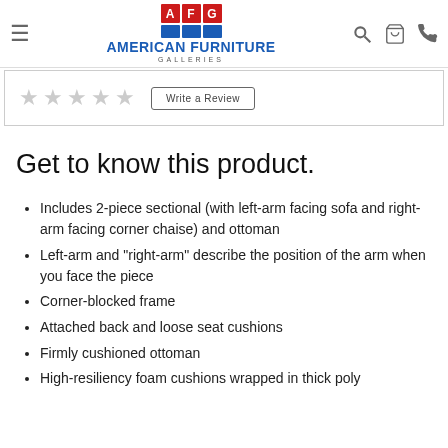American Furniture Galleries
Get to know this product.
Includes 2-piece sectional (with left-arm facing sofa and right-arm facing corner chaise) and ottoman
Left-arm and "right-arm" describe the position of the arm when you face the piece
Corner-blocked frame
Attached back and loose seat cushions
Firmly cushioned ottoman
High-resiliency foam cushions wrapped in thick poly